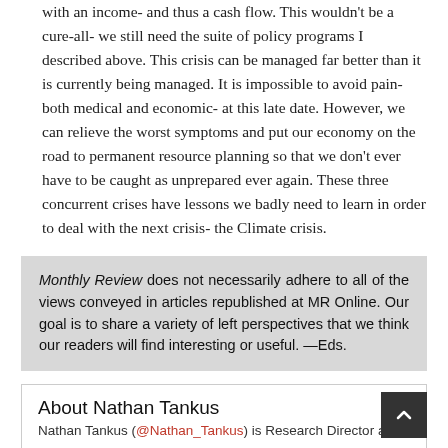with an income- and thus a cash flow. This wouldn't be a cure-all- we still need the suite of policy programs I described above. This crisis can be managed far better than it is currently being managed. It is impossible to avoid pain- both medical and economic- at this late date. However, we can relieve the worst symptoms and put our economy on the road to permanent resource planning so that we don't ever have to be caught as unprepared ever again. These three concurrent crises have lessons we badly need to learn in order to deal with the next crisis- the Climate crisis.
Monthly Review does not necessarily adhere to all of the views conveyed in articles republished at MR Online. Our goal is to share a variety of left perspectives that we think our readers will find interesting or useful. —Eds.
About Nathan Tankus
Nathan Tankus (@Nathan_Tankus) is Research Director at...